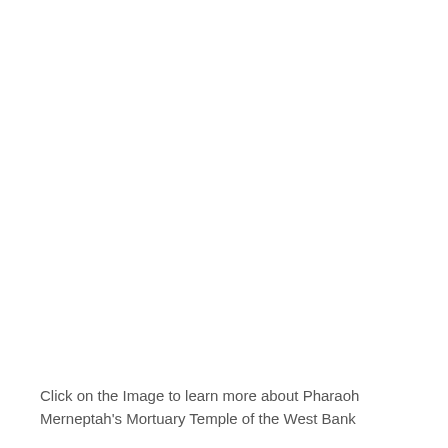Click on the Image to learn more about Pharaoh Merneptah's Mortuary Temple of the West Bank